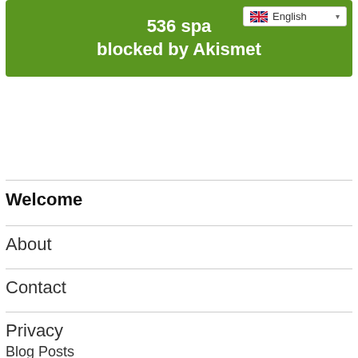[Figure (screenshot): Green Akismet spam counter banner showing '536 spam blocked by Akismet' with a language selector dropdown showing English with UK flag]
Welcome
About
Contact
Privacy
Blog Posts
Instagram Tips / Privacy Policy / Proudly powered by WordPress